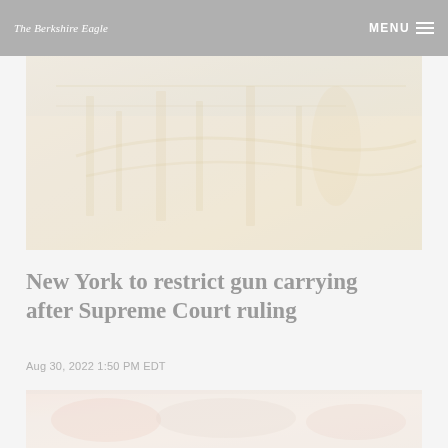The Berkshire Eagle  MENU
[Figure (photo): Faded/washed-out photograph showing gun-related imagery, possibly rifles or firearms in an industrial or shop setting, very light tones in yellows and oranges]
New York to restrict gun carrying after Supreme Court ruling
Aug 30, 2022 1:50 PM EDT
[Figure (photo): Partially visible faded photograph at the bottom of the page, showing colorful imagery, very washed out]